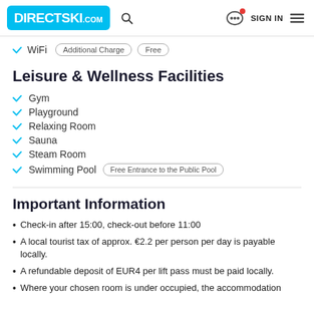DIRECTSKI.com
WiFi  Additional Charge  Free
Leisure & Wellness Facilities
Gym
Playground
Relaxing Room
Sauna
Steam Room
Swimming Pool  Free Entrance to the Public Pool
Important Information
Check-in after 15:00, check-out before 11:00
A local tourist tax of approx. €2.2 per person per day is payable locally.
A refundable deposit of EUR4 per lift pass must be paid locally.
Where your chosen room is under occupied, the accommodation